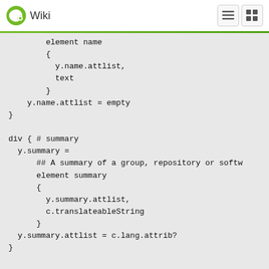Wiki
element name
    {
      y.name.attlist,
      text
    }
  y.name.attlist = empty
}

div { # summary
  y.summary =
    ## A summary of a group, repository or softw
    element summary
    {
      y.summary.attlist,
      c.translateableString
    }
  y.summary.attlist = c.lang.attrib?
}